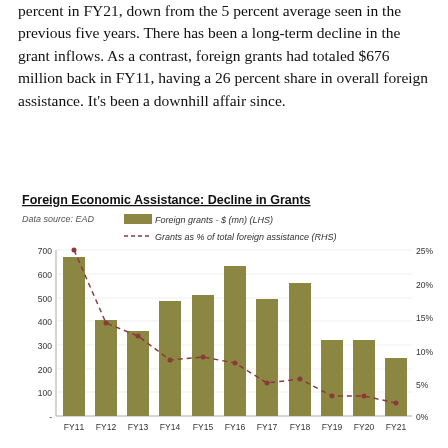percent in FY21, down from the 5 percent average seen in the previous five years. There has been a long-term decline in the grant inflows. As a contrast, foreign grants had totaled $676 million back in FY11, having a 26 percent share in overall foreign assistance. It's been a downhill affair since.
[Figure (bar-chart): Foreign Economic Assistance: Decline in Grants]